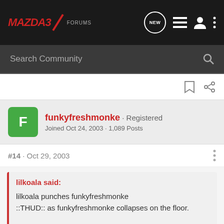MAZDA3 FORUMS
Search Community
funkyfreshmonke · Registered
Joined Oct 24, 2003 · 1,089 Posts
#14 · Oct 29, 2003
lilkoala said:
lilkoala punches funkyfreshmonke
::THUD:: as funkyfreshmonke collapses on the floor.

hey guys? i think he just blacked out!!
hahaha nice try koala haha hahbaa